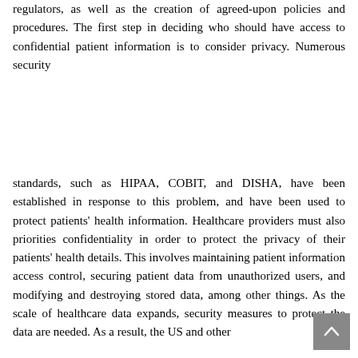regulators, as well as the creation of agreed-upon policies and procedures. The first step in deciding who should have access to confidential patient information is to consider privacy. Numerous security
standards, such as HIPAA, COBIT, and DISHA, have been established in response to this problem, and have been used to protect patients' health information. Healthcare providers must also priorities confidentiality in order to protect the privacy of their patients' health details. This involves maintaining patient information access control, securing patient data from unauthorized users, and modifying and destroying stored data, among other things. As the scale of healthcare data expands, security measures to protect the data are needed. As a result, the US and other